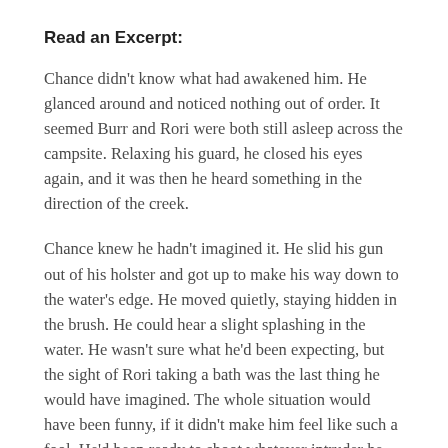Read an Excerpt:
Chance didn't know what had awakened him. He glanced around and noticed nothing out of order. It seemed Burr and Rori were both still asleep across the campsite. Relaxing his guard, he closed his eyes again, and it was then he heard something in the direction of the creek.
Chance knew he hadn't imagined it. He slid his gun out of his holster and got up to make his way down to the water's edge. He moved quietly, staying hidden in the brush. He could hear a slight splashing in the water. He wasn't sure what he'd been expecting, but the sight of Rori taking a bath was the last thing he would have imagined. The whole situation would have been funny, if it didn't make him feel like such a fool. He'd been ready to shoot whatever intruder he found there, and the intruder turned out to be the girl sitting by the shore.